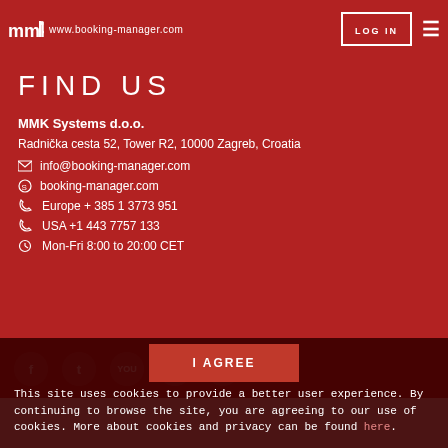mmk | www.booking-manager.com   LOG IN ☰
FIND US
MMK Systems d.o.o.
Radnička cesta 52, Tower R2, 10000 Zagreb, Croatia
✉ info@booking-manager.com
⊕ booking-manager.com
☎ Europe + 385 1 3773 951
☎ USA +1 443 7757 133
⏰ Mon-Fri 8:00 to 20:00 CET
I AGREE
This site uses cookies to provide a better user experience. By continuing to browse the site, you are agreeing to our use of cookies. More about cookies and privacy can be found here.